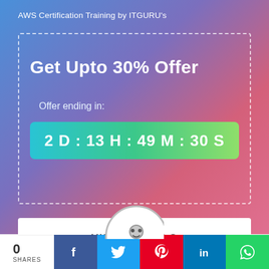AWS Certification Training by ITGURU's
Get Upto 30% Offer
Offer ending in:
2 D : 13 H : 49 M : 30 S
VIEW DETAILS
0
SHARES